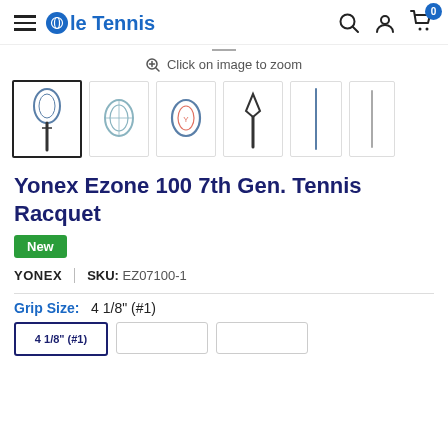Ole Tennis navigation header with hamburger menu, logo, search, account, and cart icons
Click on image to zoom
[Figure (photo): Six thumbnail images of a Yonex Ezone 100 tennis racquet from different angles: full racquet front view (selected/active), racquet head front, racquet head with logo, throat/handle view, side profile slim, and handle only side.]
Yonex Ezone 100 7th Gen. Tennis Racquet
New
YONEX  |  SKU: EZ07100-1
Grip Size:  4 1/8" (#1)